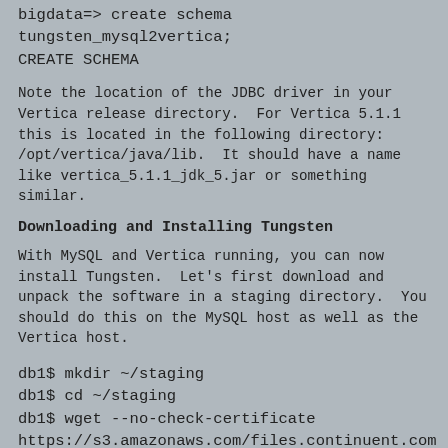bigdata=> create schema tungsten_mysql2vertica;
CREATE SCHEMA
Note the location of the JDBC driver in your Vertica release directory.  For Vertica 5.1.1 this is located in the following directory: /opt/vertica/java/lib.  It should have a name like vertica_5.1.1_jdk_5.jar or something similar.
Downloading and Installing Tungsten
With MySQL and Vertica running, you can now install Tungsten.  Let's first download and unpack the software in a staging directory.  You should do this on the MySQL host as well as the Vertica host.
db1$ mkdir ~/staging
db1$ cd ~/staging
db1$ wget --no-check-certificate
https://s3.amazonaws.com/files.continuent.com